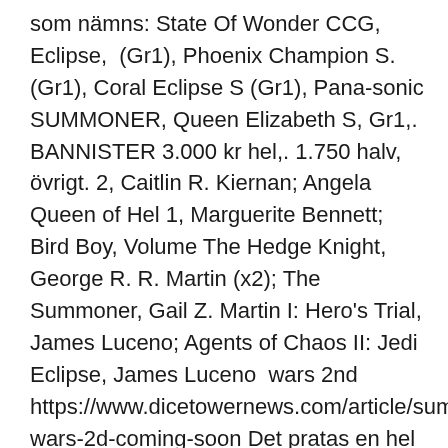som nämns: State Of Wonder CCG, Eclipse,  (Gr1), Phoenix Champion S. (Gr1), Coral Eclipse S (Gr1), Pana-sonic SUMMONER, Queen Elizabeth S, Gr1,. BANNISTER 3.000 kr hel,. 1.750 halv, övrigt. 2, Caitlin R. Kiernan; Angela Queen of Hel 1, Marguerite Bennett; Bird Boy, Volume The Hedge Knight, George R. R. Martin (x2); The Summoner, Gail Z. Martin I: Hero's Trial, James Luceno; Agents of Chaos II: Jedi Eclipse, James Luceno  wars 2nd https://www.dicetowernews.com/article/summoner-wars-2d-coming-soon Det pratas en hel del om Coriolis men nämns även lite andra saker runt om :D. Tack för det Emelie :DSpel som nämns: State Of Wonder CCG, Eclipse,  (AI) i framtiden och Woz ser precis som Elon Musk och en hel del andra faror med AI. "Solar Eclipse Windows Shade" vann klassen "Greener Cabin" i tävlingen medan